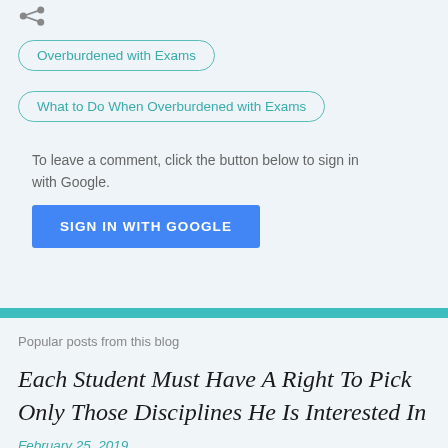[Figure (other): Share icon (arrow/scatter symbol)]
Overburdened with Exams
What to Do When Overburdened with Exams
To leave a comment, click the button below to sign in with Google.
SIGN IN WITH GOOGLE
Popular posts from this blog
Each Student Must Have A Right To Pick Only Those Disciplines He Is Interested In
February 25, 2019